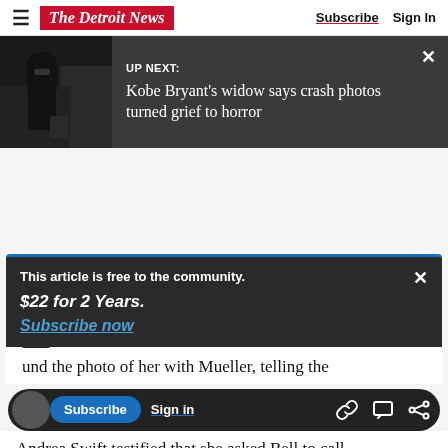The Detroit News — Subscribe | Sign In
[Figure (screenshot): Up Next banner with photo of woman in black coat and sunglasses, headline: Kobe Bryant's widow says crash photos turned grief to horror]
This article is free to the community. $22 for 2 Years. Subscribe now
und the photo of her with Mueller, telling the
Andrea Swift testified that she asked Bell to call